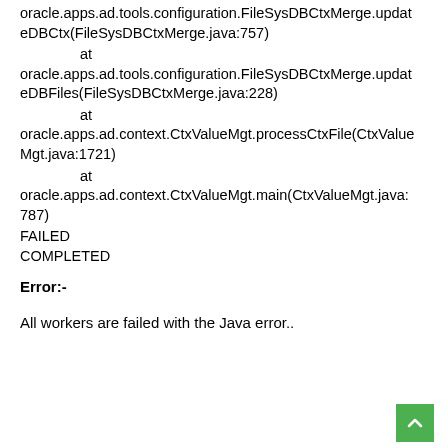oracle.apps.ad.tools.configuration.FileSysDBCtxMerge.updateDBCtx(FileSysDBCtxMerge.java:757)
        at
oracle.apps.ad.tools.configuration.FileSysDBCtxMerge.updateDBFiles(FileSysDBCtxMerge.java:228)
        at
oracle.apps.ad.context.CtxValueMgt.processCtxFile(CtxValueMgt.java:1721)
        at
oracle.apps.ad.context.CtxValueMgt.main(CtxValueMgt.java:787)
FAILED
COMPLETED
Error:-
All workers are failed with the Java error..